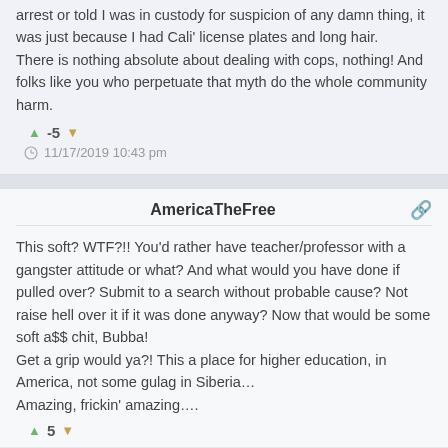arrest or told I was in custody for suspicion of any damn thing, it was just because I had Cali' license plates and long hair.
There is nothing absolute about dealing with cops, nothing! And folks like you who perpetuate that myth do the whole community harm.
-5
11/17/2019 10:43 pm
AmericaTheFree
This soft? WTF?!! You'd rather have teacher/professor with a gangster attitude or what? And what would you have done if pulled over? Submit to a search without probable cause? Not raise hell over it if it was done anyway? Now that would be some soft a$$ chit, Bubba!
Get a grip would ya?! This a place for higher education, in America, not some gulag in Siberia…
Amazing, frickin' amazing….
5